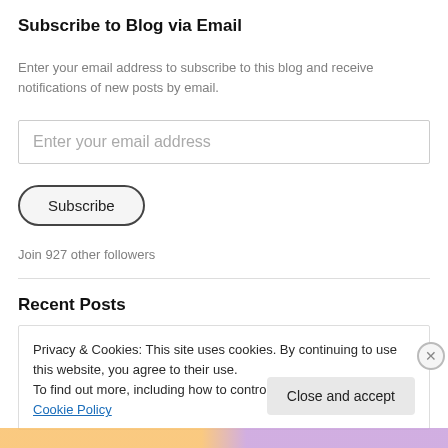Subscribe to Blog via Email
Enter your email address to subscribe to this blog and receive notifications of new posts by email.
Enter your email address
Subscribe
Join 927 other followers
Recent Posts
Privacy & Cookies: This site uses cookies. By continuing to use this website, you agree to their use.
To find out more, including how to control cookies, see here: Cookie Policy
Close and accept